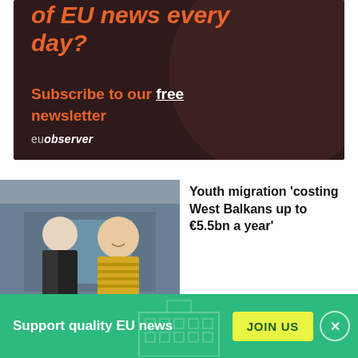[Figure (illustration): EUobserver newsletter advertisement banner with dark brown background, orange italic text 'of EU news every day?', followed by orange text 'Subscribe to our free newsletter' with 'free' underlined in white, and 'euobserver' brand in grey/white at bottom left.]
[Figure (photo): Photo of two young men standing outside a shop or building. One man in foreground wearing a yellow striped shirt, smiling. Second man in background wearing a dark tracksuit.]
Youth migration 'costing West Balkans up to €5.5bn a year'
[Figure (infographic): Green footer banner reading 'Support quality EU news' with a yellow 'JOIN US' button and a circular close (X) button on the right. A faded building/institution icon appears in the center background.]